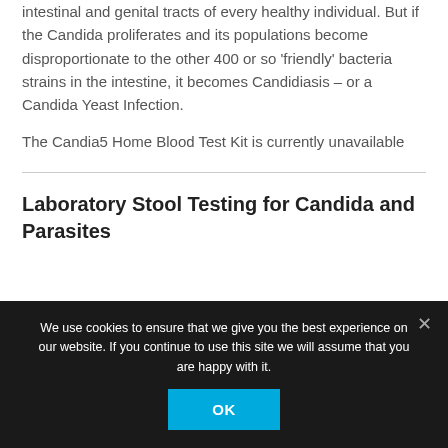intestinal and genital tracts of every healthy individual. But if the Candida proliferates and its populations become disproportionate to the other 400 or so 'friendly' bacteria strains in the intestine, it becomes Candidiasis – or a Candida Yeast Infection.
The Candia5 Home Blood Test Kit is currently unavailable
Laboratory Stool Testing for Candida and Parasites
We use cookies to ensure that we give you the best experience on our website. If you continue to use this site we will assume that you are happy with it.